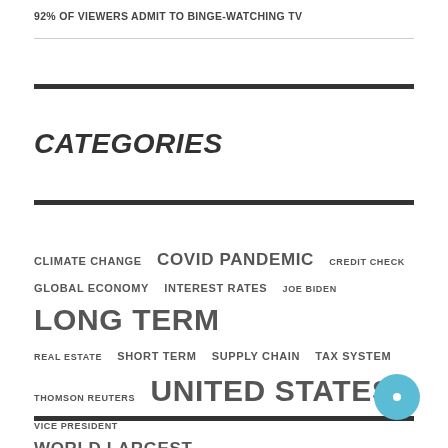92% OF VIEWERS ADMIT TO BINGE-WATCHING TV
CATEGORIES
CLIMATE CHANGE  COVID PANDEMIC  CREDIT CHECK  GLOBAL ECONOMY  INTEREST RATES  JOE BIDEN  LONG TERM  REAL ESTATE  SHORT TERM  SUPPLY CHAIN  TAX SYSTEM  THOMSON REUTERS  UNITED STATES  VICE PRESIDENT  WORLD LARGEST